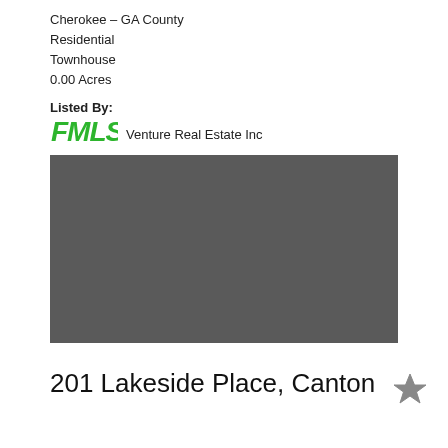Cherokee – GA County
Residential
Townhouse
0.00 Acres
Listed By:
[Figure (logo): FMLS green logo followed by text 'Venture Real Estate Inc']
[Figure (photo): Gray placeholder photo block]
201 Lakeside Place, Canton